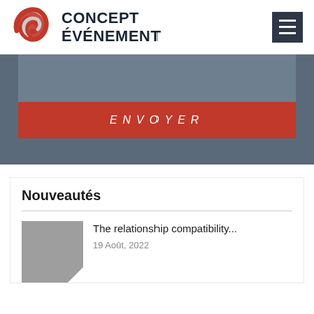[Figure (logo): Concept Événement logo with red swirl graphic and bold dark text]
[Figure (other): Dark grey form section with text area and red ENVOYER button]
Nouveautés
The relationship compatibility...
19 Août, 2022